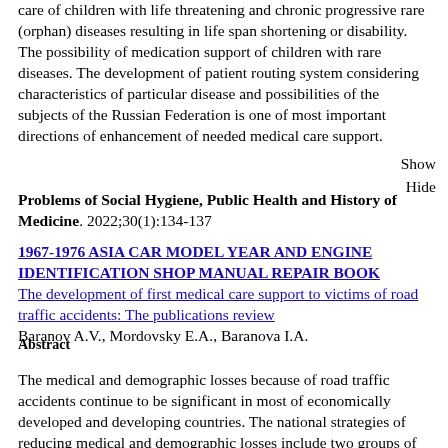care of children with life threatening and chronic progressive rare (orphan) diseases resulting in life span shortening or disability. The possibility of medication support of children with rare diseases. The development of patient routing system considering characteristics of particular disease and possibilities of the subjects of the Russian Federation is one of most important directions of enhancement of needed medical care support.
Show Hide
Problems of Social Hygiene, Public Health and History of Medicine. 2022;30(1):134-137
1967-1976 ASIA CAR MODEL YEAR AND ENGINE IDENTIFICATION SHOP MANUAL REPAIR BOOK
The development of first medical care support to victims of road traffic accidents: The publications review
Baranov A.V., Mordovsky E.A., Baranova I.A.
Abstract
The medical and demographic losses because of road traffic accidents continue to be significant in most of economically developed and developing countries. The national strategies of reducing medical and demographic losses include two groups of measures, depending on object of exposure: (1) targeted to decreasing risk of road traffic accidents and (2) targeted to timely